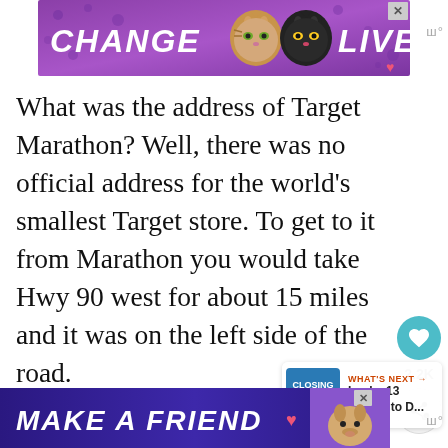[Figure (illustration): Purple advertisement banner with two cat faces and text 'CHANGE LIVES' with a heart icon and close button]
What was the address of Target Marathon? Well, there was no official address for the world's smallest Target store. To get to it from Marathon you would take Hwy 90 west for about 15 miles and it was on the left side of the road.
[Figure (illustration): Side action buttons: teal heart button with 2.2K likes and share button]
[Figure (illustration): What's Next box showing Lucky 13 Things to D...]
Target Marathon is no more, it was torn down sometime in 2022 I believe.
[Figure (illustration): Dark blue/purple advertisement banner with text 'MAKE A FRIEND', heart icon, dog photo, close button]